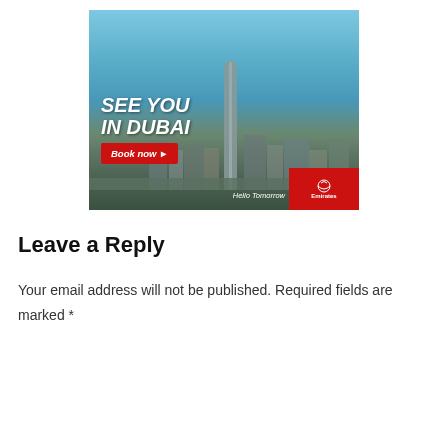[Figure (photo): Emirates airline advertisement featuring the Burj Khalifa and Dubai skyline with text 'SEE YOU IN DUBAI', a 'Book now' button, and the Emirates 'Hello Tomorrow' logo]
Leave a Reply
Your email address will not be published. Required fields are marked *